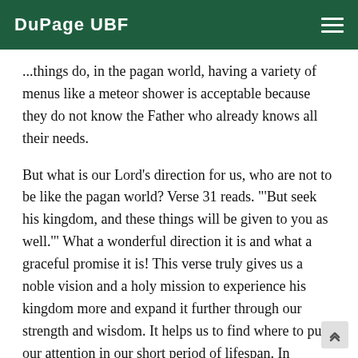DuPage UBF
...things do, in the pagan world, having a variety of menus like a meteor shower is acceptable because they do not know the Father who already knows all their needs.
But what is our Lord’s direction for us, who are not to be like the pagan world? Verse 31 reads. “‘But seek his kingdom, and these things will be given to you as well.’” What a wonderful direction it is and what a graceful promise it is! This verse truly gives us a noble vision and a holy mission to experience his kingdom more and expand it further through our strength and wisdom. It helps us to find where to put our attention in our short period of lifespan. In addition, this direction comes with a promise that He will take care of peripheral things.
We as University Bible Fellowshipers love to in engaged ...